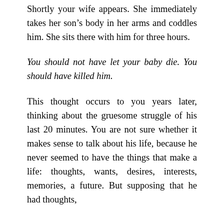Shortly your wife appears. She immediately takes her son’s body in her arms and coddles him. She sits there with him for three hours.
You should not have let your baby die. You should have killed him.
This thought occurs to you years later, thinking about the gruesome struggle of his last 20 minutes. You are not sure whether it makes sense to talk about his life, because he never seemed to have the things that make a life: thoughts, wants, desires, interests, memories, a future. But supposing that he had thoughts,